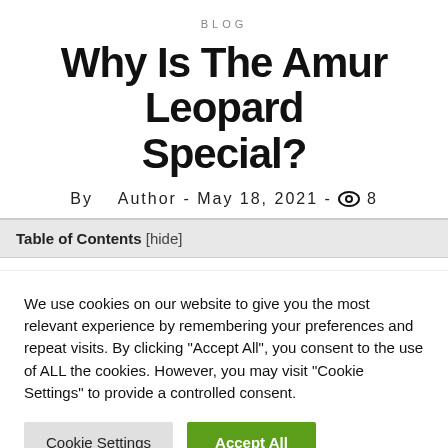BLOG
Why Is The Amur Leopard Special?
By Author - May 18, 2021 - 👁 8
Table of Contents [hide]
We use cookies on our website to give you the most relevant experience by remembering your preferences and repeat visits. By clicking "Accept All", you consent to the use of ALL the cookies. However, you may visit "Cookie Settings" to provide a controlled consent.
Cookie Settings | Accept All